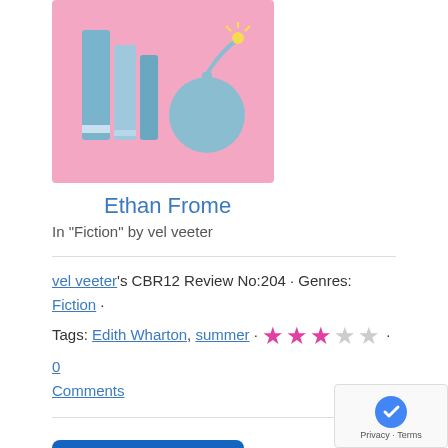[Figure (illustration): Book cover thumbnail: pink background with blue/grey illustrated books and a bomb, representing the Ethan Frome book listing]
Ethan Frome
In "Fiction" by vel veeter
vel veeter's CBR12 Review No:204 · Genres: Fiction · Tags: Edith Wharton, summer · ★★★☆☆ · 0 Comments
[Figure (logo): Blue square logo with white circular/power-button style icon, and a dark grey chat bubble icon overlay at bottom left]
[Figure (screenshot): reCAPTCHA privacy badge in bottom right corner showing Google reCAPTCHA logo and Privacy · Terms text]